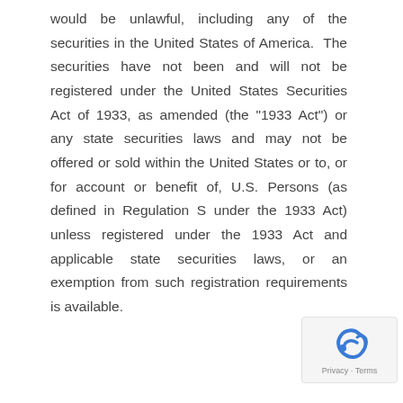would be unlawful, including any of the securities in the United States of America. The securities have not been and will not be registered under the United States Securities Act of 1933, as amended (the "1933 Act") or any state securities laws and may not be offered or sold within the United States or to, or for account or benefit of, U.S. Persons (as defined in Regulation S under the 1933 Act) unless registered under the 1933 Act and applicable state securities laws, or an exemption from such registration requirements is available.